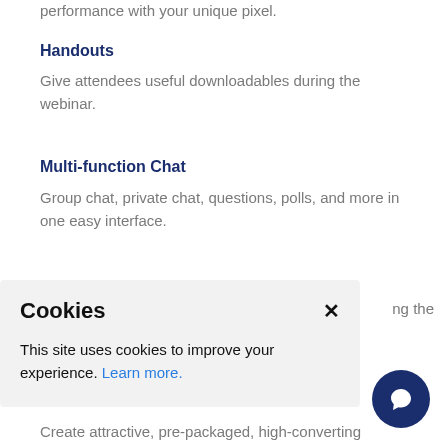performance with your unique pixel.
Handouts
Give attendees useful downloadables during the webinar.
Multi-function Chat
Group chat, private chat, questions, polls, and more in one easy interface.
[Figure (screenshot): Cookie consent banner with title 'Cookies', close X button, body text 'This site uses cookies to improve your experience. Learn more.' and a dark navy chat bubble icon in the bottom right corner.]
Create attractive, pre-packaged, high-converting